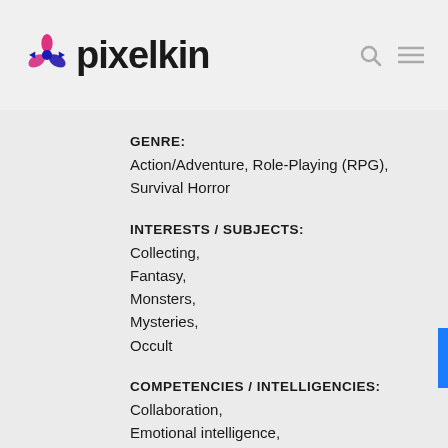pixelkin
GENRE:
Action/Adventure, Role-Playing (RPG), Survival Horror
INTERESTS / SUBJECTS:
Collecting,
Fantasy,
Monsters,
Mysteries,
Occult
COMPETENCIES / INTELLIGENCIES:
Collaboration,
Emotional intelligence,
Reaction Time,
Strategy
REGION OF ORIGIN: